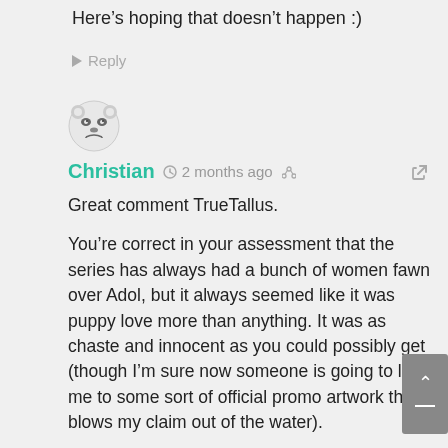Here's hoping that doesn't happen :)
Reply
[Figure (illustration): User avatar: cartoon panda face with eyes and nose]
Christian  2 months ago
Great comment TrueTallus.

You're correct in your assessment that the series has always had a bunch of women fawn over Adol, but it always seemed like it was puppy love more than anything. It was as chaste and innocent as you could possibly get (though I'm sure now someone is going to link me to some sort of official promo artwork that blows my claim out of the water).

You're also correct about the Fairies in Ys VI, but I'd say that that was one particularly egregious instance out of six consecutive games. At the time,